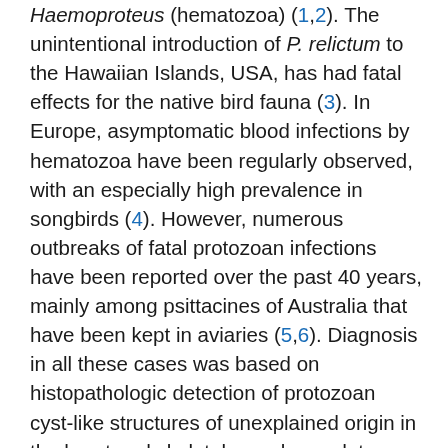Haemoproteus (hematozoa) (1,2). The unintentional introduction of P. relictum to the Hawaiian Islands, USA, has had fatal effects for the native bird fauna (3). In Europe, asymptomatic blood infections by hematozoa have been regularly observed, with an especially high prevalence in songbirds (4). However, numerous outbreaks of fatal protozoan infections have been reported over the past 40 years, mainly among psittacines of Australia that have been kept in aviaries (5,6). Diagnosis in all these cases was based on histopathologic detection of protozoan cyst-like structures of unexplained origin in the heart and skeletal muscles and, to a lesser extent, in other organs. In most cases, the protozoans were identified as members of the genus Leucocytozoon because of their morphologic features. Recent studies suggest that these cases may, in fact, have been infections of Besnoitia spp. (Sarcocystidae) or other unknown